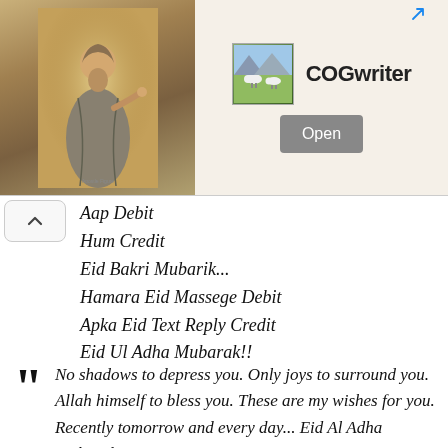[Figure (illustration): Advertisement banner with a biblical figure (apostle/prophet) in robes on a sandy background on the left, a small pastoral scene thumbnail, the brand name COGwriter, and an Open button on the right.]
Aap Debit
Hum Credit
Eid Bakri Mubarik...
Hamara Eid Massege Debit
Apka Eid Text Reply Credit
Eid Ul Adha Mubarak!!
No shadows to depress you. Only joys to surround you. Allah himself to bless you. These are my wishes for you. Recently tomorrow and every day... Eid Al Adha Mubarak!